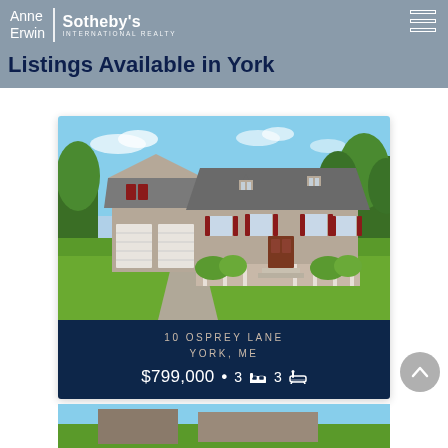Anne Erwin | Sotheby's International Realty
Listings Available in York
[Figure (photo): Exterior photo of a large colonial-style two-story home with gray siding, red shutters, three-car garage, covered front porch, and lush green lawn under a blue sky]
10 OSPREY LANE
YORK, ME
$799,000  •  3 🛏  3 🛁
[Figure (photo): Partial view of a second property listing at the bottom of the page]